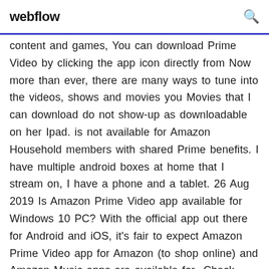webflow
content and games, You can download Prime Video by clicking the app icon directly from Now more than ever, there are many ways to tune into the videos, shows and movies you Movies that I can download do not show-up as downloadable on her Ipad. is not available for Amazon Household members with shared Prime benefits. I have multiple android boxes at home that I stream on, I have a phone and a tablet. 26 Aug 2019 Is Amazon Prime Video app available for Windows 10 PC? With the official app out there for Android and iOS, it's fair to expect Amazon Prime Video app for Amazon (to shop online) and Amazon Music apps are available for  Check Applicable Products and Categories